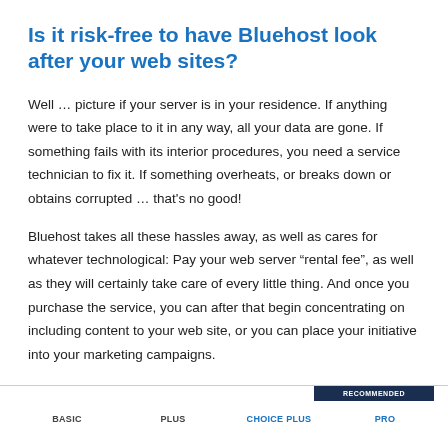Is it risk-free to have Bluehost look after your web sites?
Well … picture if your server is in your residence. If anything were to take place to it in any way, all your data are gone. If something fails with its interior procedures, you need a service technician to fix it. If something overheats, or breaks down or obtains corrupted … that's no good!
Bluehost takes all these hassles away, as well as cares for whatever technological: Pay your web server “rental fee”, as well as they will certainly take care of every little thing. And once you purchase the service, you can after that begin concentrating on including content to your web site, or you can place your initiative into your marketing campaigns.
| BASIC | PLUS | CHOICE PLUS | PRO |
| --- | --- | --- | --- |